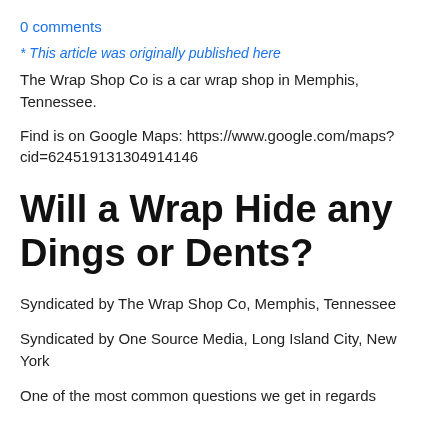0 comments
* This article was originally published here
The Wrap Shop Co is a car wrap shop in Memphis, Tennessee.
Find is on Google Maps: https://www.google.com/maps?cid=624519131304914146
Will a Wrap Hide any Dings or Dents?
Syndicated by The Wrap Shop Co, Memphis, Tennessee
Syndicated by One Source Media, Long Island City, New York
One of the most common questions we get in regards